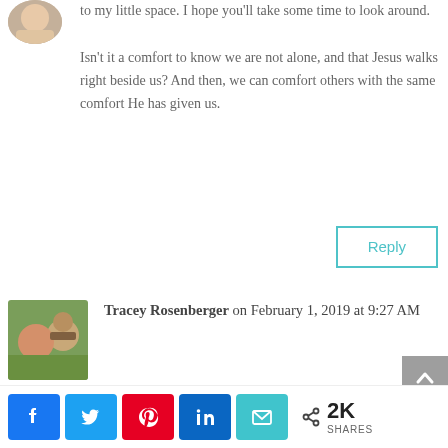[Figure (photo): Small circular avatar image of a person, partially visible at top left]
to my little space. I hope you'll take some time to look around.
Isn't it a comfort to know we are not alone, and that Jesus walks right beside us? And then, we can comfort others with the same comfort He has given us.
Reply
[Figure (photo): Square avatar photo of a couple (man and woman) outdoors]
Tracey Rosenberger on February 1, 2019 at 9:27 AM
I love making the enemy mad too! I am learning how to rejoice even through the tough times. It's a lesson I should have
[Figure (infographic): Social share bar with Facebook, Twitter, Pinterest, LinkedIn, Email buttons and 2K SHARES count]